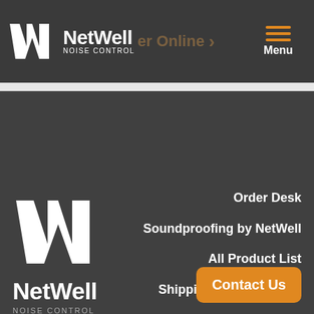NetWell NOISE CONTROL | Order Online | Menu
[Figure (logo): NetWell Noise Control logo with NW monogram in main content area]
Order Desk
Soundproofing by NetWell
All Product List
Shipping and Receiving
Terms & Conditions
Contact Us